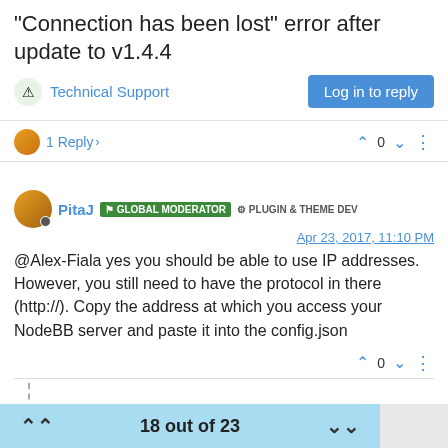"Connection has been lost" error after update to v1.4.4
Technical Support
Log in to reply
1 Reply > 0
PitaJ GLOBAL MODERATOR PLUGIN & THEME DEV Apr 23, 2017, 11:10 PM
@Alex-Fiala yes you should be able to use IP addresses. However, you still need to have the protocol in there (http://). Copy the address at which you access your NodeBB server and paste it into the config.json
0
6 months later
18 out of 23